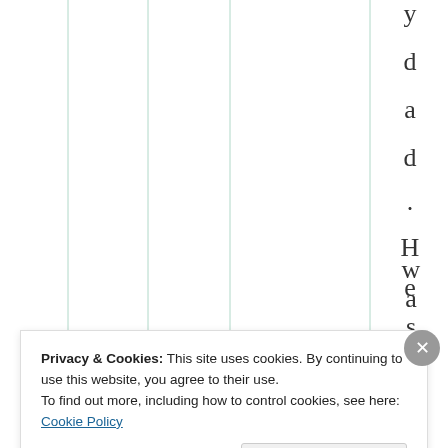[Figure (other): Partial view of a table with vertical column lines and rotated text reading 'y d a d . H e w a s' along the right column]
Privacy & Cookies: This site uses cookies. By continuing to use this website, you agree to their use.
To find out more, including how to control cookies, see here: Cookie Policy
Close and accept